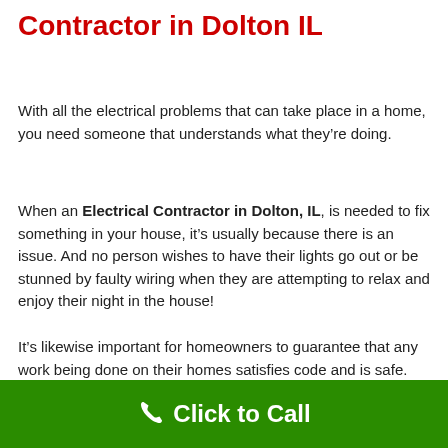Contractor in Dolton IL
With all the electrical problems that can take place in a home, you need someone that understands what they’re doing.
When an Electrical Contractor in Dolton, IL, is needed to fix something in your house, it’s usually because there is an issue. And no person wishes to have their lights go out or be stunned by faulty wiring when they are attempting to relax and enjoy their night in the house!
It’s likewise important for homeowners to guarantee that any work being done on their homes satisfies code and is safe.
Click to Call